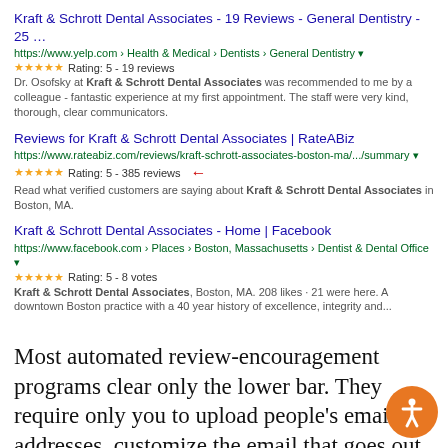[Figure (screenshot): Google search results showing three listings for Kraft & Schrott Dental Associates from Yelp, RateABiz, and Facebook, with star ratings and snippets. A red arrow points to the RateABiz rating of 385 reviews.]
Most automated review-encouragement programs clear only the lower bar. They require only you to upload people's email addresses, customize the email that goes out automatically, maybe tweak some settings, and keep a credit card on-file. A great rev strategy – one that gets the greatest number